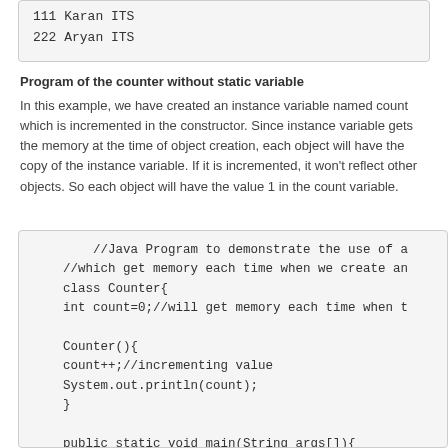111 Karan ITS
222 Aryan ITS
Program of the counter without static variable
In this example, we have created an instance variable named count which is incremented in the constructor. Since instance variable gets the memory at the time of object creation, each object will have the copy of the instance variable. If it is incremented, it won't reflect other objects. So each object will have the value 1 in the count variable.
//Java Program to demonstrate the use of a
//which get memory each time when we create an
class Counter{
int count=0;//will get memory each time when t

Counter(){
count++;//incrementing value
System.out.println(count);
}

public static void main(String args[]){
//Creating objects
Counter c1=new Counter();
Counter c2=new Counter();